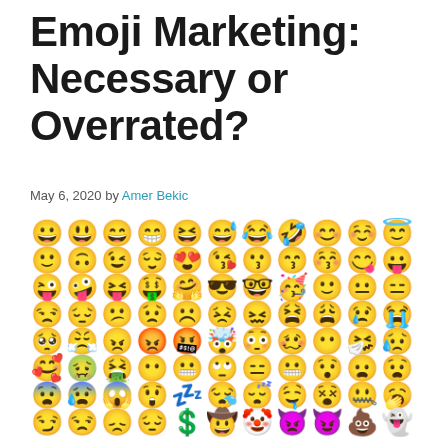Emoji Marketing: Necessary or Overrated?
May 6, 2020 by Amer Bekic
[Figure (illustration): A large grid of various emoji faces covering different emotions including happy, laughing, crying, angry, surprised, and many others on yellow circular backgrounds.]